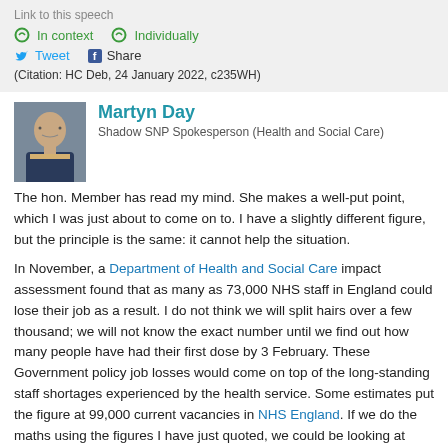Link to this speech
In context   Individually
Tweet   Share
(Citation: HC Deb, 24 January 2022, c235WH)
Martyn Day
Shadow SNP Spokesperson (Health and Social Care)
The hon. Member has read my mind. She makes a well-put point, which I was just about to come on to. I have a slightly different figure, but the principle is the same: it cannot help the situation.

In November, a Department of Health and Social Care impact assessment found that as many as 73,000 NHS staff in England could lose their job as a result. I do not think we will split hairs over a few thousand; we will not know the exact number until we find out how many people have had their first dose by 3 February. These Government policy job losses would come on top of the long-standing staff shortages experienced by the health service. Some estimates put the figure at 99,000 current vacancies in NHS England. If we do the maths using the figures I have just quoted, we could be looking at 172,000 vacancies in England come April. The transition is set to rise in both the...